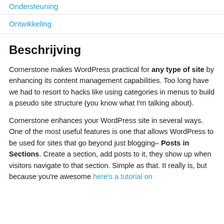Ondersteuning
Ontwikkeling
Beschrijving
Cornerstone makes WordPress practical for any type of site by enhancing its content management capabilities. Too long have we had to resort to hacks like using categories in menus to build a pseudo site structure (you know what I'm talking about).
Cornerstone enhances your WordPress site in several ways. One of the most useful features is one that allows WordPress to be used for sites that go beyond just blogging– Posts in Sections. Create a section, add posts to it, they show up when visitors navigate to that section. Simple as that. It really is, but because you're awesome here's a tutorial on